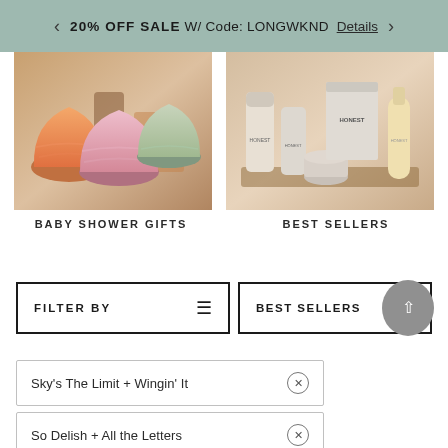20% OFF SALE W/ Code: LONGWKND  Details
[Figure (photo): Product photo showing colorful knit/crocheted baby hats in orange and pink tones, displayed on wooden props with a warm background.]
[Figure (photo): Product photo showing Honest brand skincare products including tubes, a bottle, and a box arranged on a neutral background.]
BABY SHOWER GIFTS
BEST SELLERS
FILTER BY
BEST SELLERS
Sky's The Limit + Wingin' It ⊗
So Delish + All the Letters ⊗